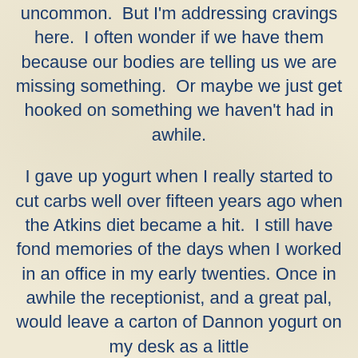uncommon. But I'm addressing cravings here. I often wonder if we have them because our bodies are telling us we are missing something. Or maybe we just get hooked on something we haven't had in awhile.
I gave up yogurt when I really started to cut carbs well over fifteen years ago when the Atkins diet became a hit. I still have fond memories of the days when I worked in an office in my early twenties. Once in awhile the receptionist, and a great pal, would leave a carton of Dannon yogurt on my desk as a little